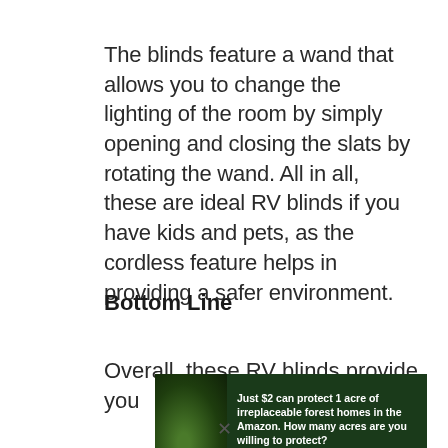The blinds feature a wand that allows you to change the lighting of the room by simply opening and closing the slats by rotating the wand. All in all, these are ideal RV blinds if you have kids and pets, as the cordless feature helps in providing a safer environment.
Bottom Line
Overall, these RV blinds provide you
[Figure (infographic): Advertisement banner with dark forest background and animal image. Text reads: 'Just $2 can protect 1 acre of irreplaceable forest homes in the Amazon. How many acres are you willing to protect?' with a green 'PROTECT FORESTS NOW' button.]
×